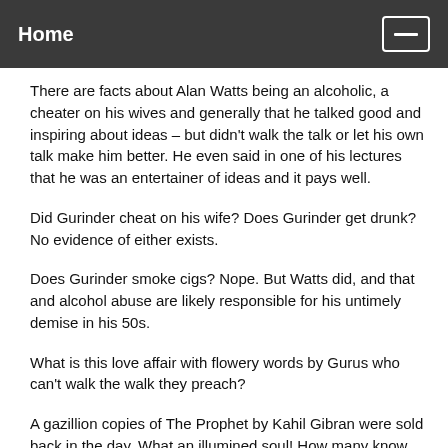Home
There are facts about Alan Watts being an alcoholic, a cheater on his wives and generally that he talked good and inspiring about ideas – but didn't walk the talk or let his own talk make him better. He even said in one of his lectures that he was an entertainer of ideas and it pays well.
Did Gurinder cheat on his wife? Does Gurinder get drunk? No evidence of either exists.
Does Gurinder smoke cigs? Nope. But Watts did, and that and alcohol abuse are likely responsible for his untimely demise in his 50s.
What is this love affair with flowery words by Gurus who can't walk the walk they preach?
A gazillion copies of The Prophet by Kahil Gibran were sold back in the day. What an illumined soul! How many know that Gibran drank himself to death? He did in his 40s of cirrhosis of the liver. Maezumi Roshi died of drink as well. And so did Chogyam Trungpa. All of them had